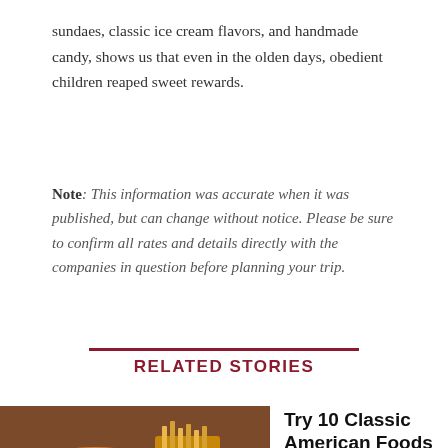sundaes, classic ice cream flavors, and handmade candy, shows us that even in the olden days, obedient children reaped sweet rewards.
Note: This information was accurate when it was published, but can change without notice. Please be sure to confirm all rates and details directly with the companies in question before planning your trip.
RELATED STORIES
[Figure (photo): Photo of a burger and fries on a table, food photography style]
Try 10 Classic American Foods in the Places They Were